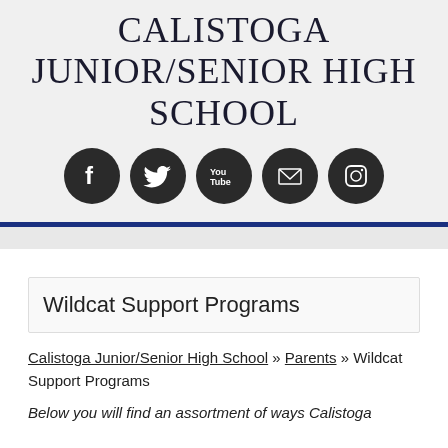CALISTOGA JUNIOR/SENIOR HIGH SCHOOL
[Figure (infographic): Five social media icons in dark circles: Facebook, Twitter, YouTube, Email/Envelope, Instagram]
Wildcat Support Programs
Calistoga Junior/Senior High School » Parents » Wildcat Support Programs
Below you will find an assortment of ways Calistoga